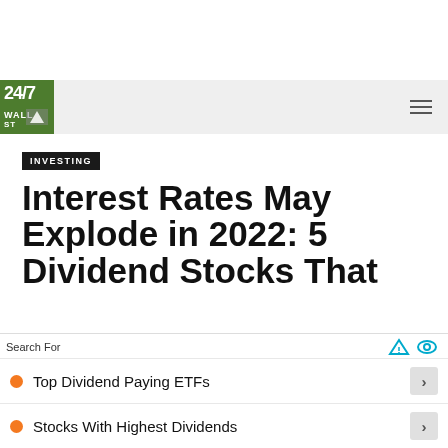[Figure (logo): 24/7 Wall St. logo - green square with white text]
INVESTING
Interest Rates May Explode in 2022: 5 Dividend Stocks That
Search For
Top Dividend Paying ETFs
Stocks With Highest Dividends